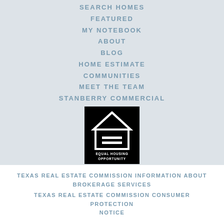SEARCH HOMES
FEATURED
MY NOTEBOOK
ABOUT
BLOG
HOME ESTIMATE
COMMUNITIES
MEET THE TEAM
STANBERRY COMMERCIAL
[Figure (logo): Equal Housing Opportunity logo — white house icon with equal sign on black background]
TERMS OF USE PRIVACY NOTICE DMCA
TEXAS REAL ESTATE COMMISSION INFORMATION ABOUT BROKERAGE SERVICES
TEXAS REAL ESTATE COMMISSION CONSUMER PROTECTION NOTICE